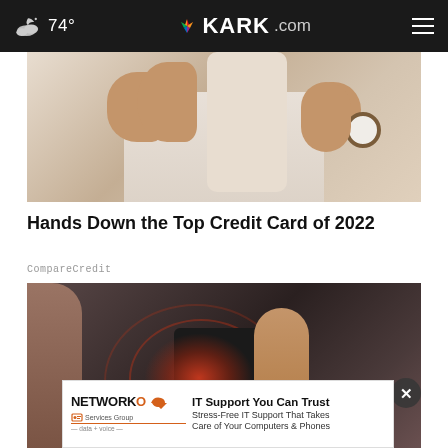74° KARK.com
[Figure (photo): Close-up of a person in a white shirt pointing at their chest/collar area, wearing a wristwatch]
Hands Down the Top Credit Card of 2022
CompareCredit
[Figure (photo): Person in a black shirt holding their lower back/hip area, with a red glow indicating pain, and circular pain indicator rings]
[Figure (other): Advertisement banner: NETWORKO Services Group — IT Support You Can Trust. Stress-Free IT Support That Takes Care of Your Computers & Phones]